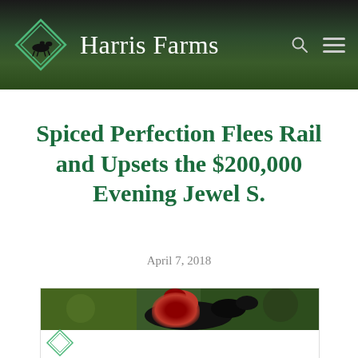Harris Farms
Spiced Perfection Flees Rail and Upsets the $200,000 Evening Jewel S.
April 7, 2018
[Figure (photo): Photo of a horse and jockey racing, red and black silks, partial view cropped at top of frame]